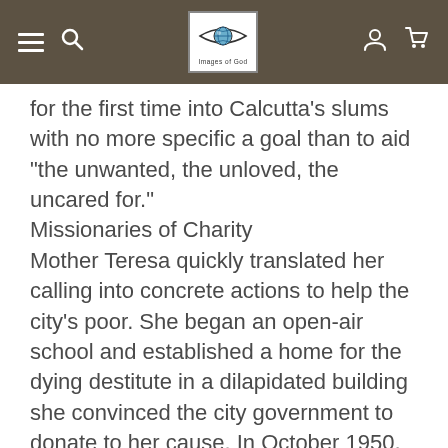[Navigation bar with hamburger menu, search, Images of God logo, user icon, cart icon]
for the first time into Calcutta's slums with no more specific a goal than to aid "the unwanted, the unloved, the uncared for."
Missionaries of Charity
Mother Teresa quickly translated her calling into concrete actions to help the city's poor. She began an open-air school and established a home for the dying destitute in a dilapidated building she convinced the city government to donate to her cause. In October 1950, she won canonical recognition for a